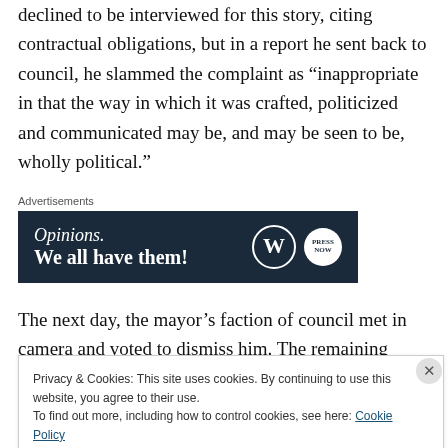declined to be interviewed for this story, citing contractual obligations, but in a report he sent back to council, he slammed the complaint as “inappropriate in that the way in which it was crafted, politicized and communicated may be, and may be seen to be, wholly political.”
Advertisements
[Figure (other): Advertisement banner with dark navy background reading 'Opinions. We all have them!' with WordPress and press logos on the right.]
The next day, the mayor’s faction of council met in camera and voted to dismiss him. The remaining three councillors
Privacy & Cookies: This site uses cookies. By continuing to use this website, you agree to their use.
To find out more, including how to control cookies, see here: Cookie Policy
Close and accept